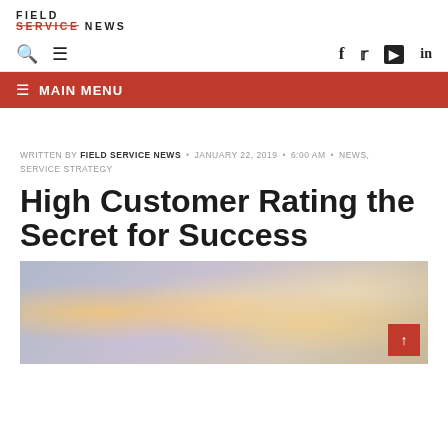FIELD SERVICE NEWS
search menu f t youtube in
≡ MAIN MENU
WRITTEN BY FIELD SERVICE NEWS • JANUARY 22, 2019 • 6:00 AM • NEWS, SERVICE STRATEGY
High Customer Rating the Secret for Success
[Figure (photo): Bokeh background photo with warm orange and yellow circles of light on a cool grey-purple background. Red scroll-to-top button in lower right corner with upward arrow.]